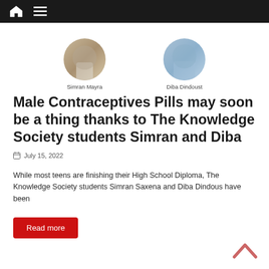[Figure (photo): Two circular profile photos of Simran Mayra (left, wearing white top) and Diba Dindoust (right, wearing light blue top) with their names below]
Simran Mayra
Diba Dindoust
Male Contraceptives Pills may soon be a thing thanks to The Knowledge Society students Simran and Diba
July 15, 2022
While most teens are finishing their High School Diploma, The Knowledge Society students Simran Saxena and Diba Dindous have been